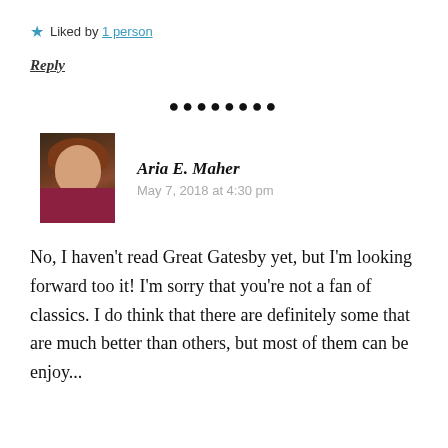★ Liked by 1 person
Reply
[Figure (other): Decorative dot separator row]
[Figure (photo): Avatar photo of Aria E. Maher]
Aria E. Maher
May 7, 2018 at 4:30 pm
No, I haven't read Great Gatesby yet, but I'm looking forward too it! I'm sorry that you're not a fan of classics. I do think that there are definitely some that are much better than others, but most of them...